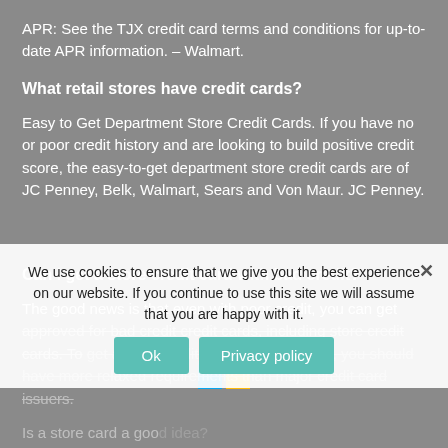APR: See the TJX credit card terms and conditions for up-to-date APR information. – Walmart.
What retail stores have credit cards?
Easy to Get Department Store Credit Cards. If you have no or poor credit history and are looking to build positive credit score, the easy-to-get department store credit cards are of JC Penney, Belk, Walmart, Sears and Von Maur. JC Penney.
[Figure (logo): Windows logo (four colored squares in a 2x2 grid)]
Can I get a store credit card with bad credit?
The good news is that even with poor credit, you can get approved for bad credit credit cards, including store credit cards. To get a store credit card with bad credit, you should have more relaxed requirements than major credit card issuers.
Is a store card a good idea?